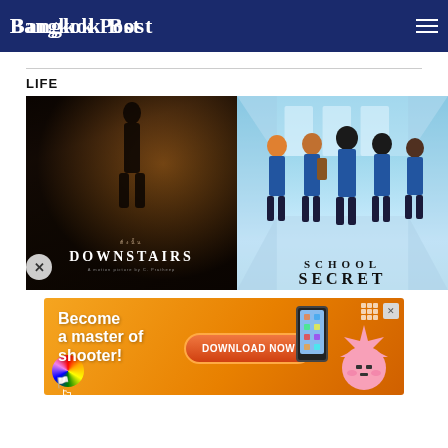Bangkok Post
LIFE
[Figure (photo): Two movie/show promotional images side by side: left shows 'DOWNSTAIRS' film poster with dark silhouette figure against warm light; right shows animated 'SCHOOL SECRET' with anime-style students in school corridor]
[Figure (photo): Advertisement banner: 'Become a master of shooter! DOWNLOAD NOW' on orange background with game character and colorful ball]